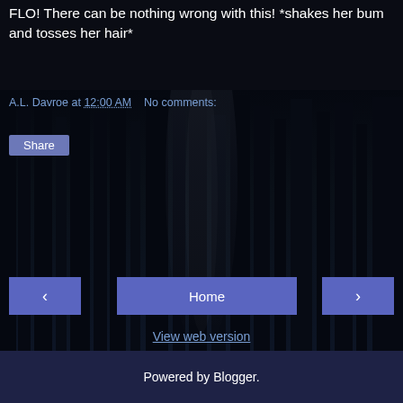FLO! There can be nothing wrong with this! *shakes her bum and tosses her hair*
A.L. Davroe at 12:00 AM    No comments:
Share
‹
Home
›
View web version
Create a blog
It's easy and it only takes a minute
www.blogger.com
Powered by Blogger.